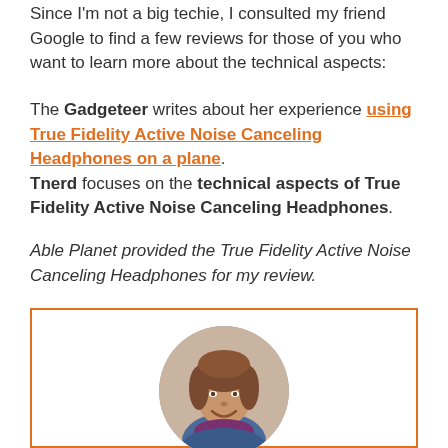Since I'm not a big techie, I consulted my friend Google to find a few reviews for those of you who want to learn more about the technical aspects:
The Gadgeteer writes about her experience using True Fidelity Active Noise Canceling Headphones on a plane. Tnerd focuses on the technical aspects of True Fidelity Active Noise Canceling Headphones.
Able Planet provided the True Fidelity Active Noise Canceling Headphones for my review.
[Figure (photo): Circular portrait photo of a woman with brown hair, smiling, in an orange-bordered box]